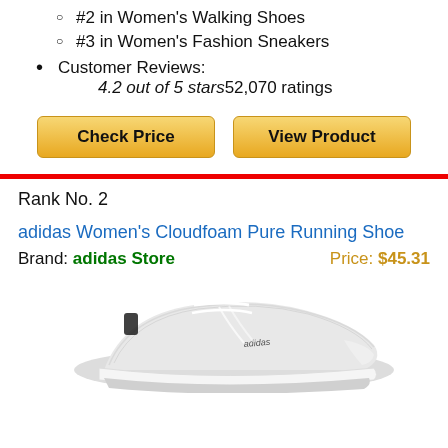#2 in Women's Walking Shoes
#3 in Women's Fashion Sneakers
Customer Reviews: 4.2 out of 5 stars52,070 ratings
[Figure (other): Two buttons: 'Check Price' and 'View Product' with golden gradient styling]
Rank No. 2
adidas Women's Cloudfoam Pure Running Shoe
Brand: adidas Store   Price: $45.31
[Figure (photo): Photo of white adidas Women's Cloudfoam Pure Running Shoe]